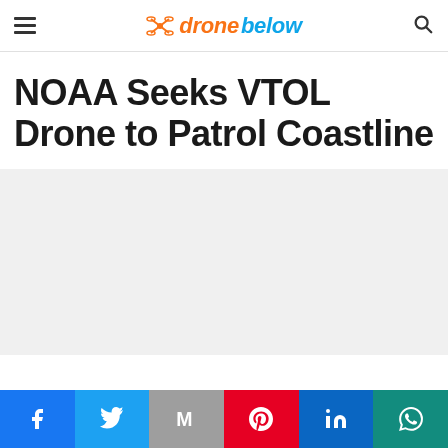dronebelow
NOAA Seeks VTOL Drone to Patrol Coastline
[Figure (photo): Gray/light background placeholder image area below the article title]
[Figure (infographic): Social sharing bar with Facebook, Twitter, Gmail, Pinterest, LinkedIn, WhatsApp icons]